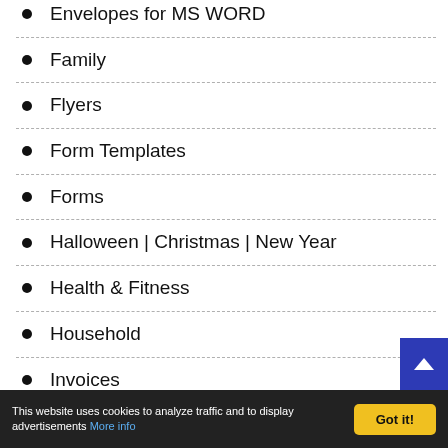Envelopes for MS WORD
Family
Flyers
Form Templates
Forms
Halloween | Christmas | New Year
Health & Fitness
Household
Invoices
This website uses cookies to analyze traffic and to display advertisements More info  Got it!